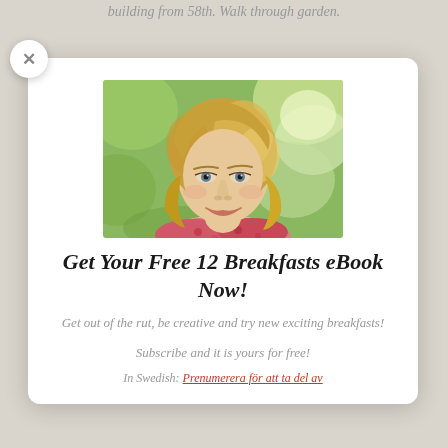building from 58th. Walk through garden.
[Figure (photo): Portrait photo of a smiling middle-aged blonde woman wearing a pink scarf, outdoors with green background]
Get Your Free 12 Breakfasts eBook Now!
Get out of the rut, be creative and try new exciting breakfasts!
Subscribe and it is yours for free!
In Swedish: [link text in red] för att ta del av